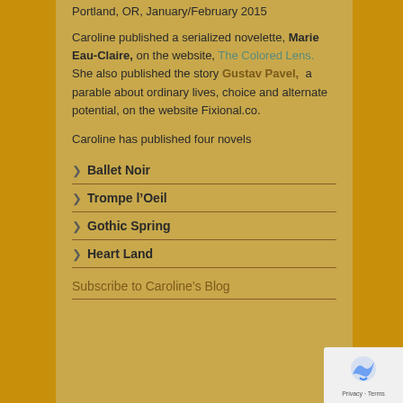Portland, OR, January/February 2015
Caroline published a serialized novelette, Marie Eau-Claire, on the website, The Colored Lens. She also published the story Gustav Pavel, a parable about ordinary lives, choice and alternate potential, on the website Fixional.co.
Caroline has published four novels
Ballet Noir
Trompe l’Oeil
Gothic Spring
Heart Land
Subscribe to Caroline’s Blog